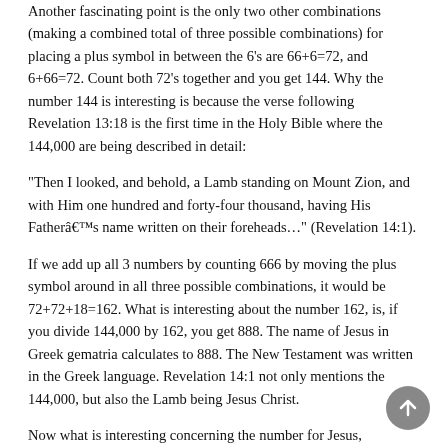Another fascinating point is the only two other combinations (making a combined total of three possible combinations) for placing a plus symbol in between the 6's are 66+6=72, and 6+66=72. Count both 72's together and you get 144. Why the number 144 is interesting is because the verse following Revelation 13:18 is the first time in the Holy Bible where the 144,000 are being described in detail:
"Then I looked, and behold, a Lamb standing on Mount Zion, and with Him one hundred and forty-four thousand, having His Fatherâ€™s name written on their foreheads..." (Revelation 14:1).
If we add up all 3 numbers by counting 666 by moving the plus symbol around in all three possible combinations, it would be 72+72+18=162. What is interesting about the number 162, is, if you divide 144,000 by 162, you get 888. The name of Jesus in Greek gematria calculates to 888. The New Testament was written in the Greek language. Revelation 14:1 not only mentions the 144,000, but also the Lamb being Jesus Christ.
Now what is interesting concerning the number for Jesus,